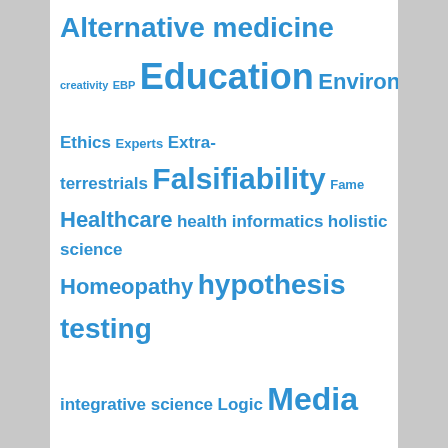[Figure (infographic): Tag cloud / word cloud with educational and science-related topics in varying blue font sizes indicating frequency/importance. Terms include: Alternative medicine, creativity, EBP, Education, Environment, Ethics, Experts, Extra-terrestrials, Falsifiability, Fame, Healthcare, health informatics, holistic science, Homeopathy, hypothesis testing, integrative science, Logic, Media, Naturopathy, neurophysiology, Non Science, Nursing, originality, Outdoor Education, Philosophy, Policy, Politics, positivism, Postmodernism, Pseudoscience, Public Health, publishing, quasi-science, Religion, Safety, Science, statistics, Technology, therapeutic touch, Verification]